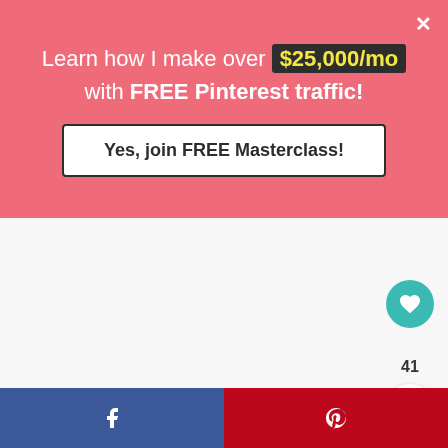Learn how I make over $25,000/mo with FREE Pinterest traffic!
Yes, join FREE Masterclass!
[Figure (screenshot): White/light grey empty content area below the pink promotional banner]
[Figure (infographic): Teal circular heart/like button with count of 41, share button, Facebook and Pinterest share bar at bottom]